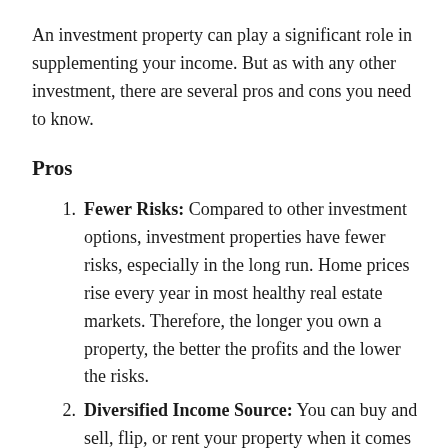An investment property can play a significant role in supplementing your income. But as with any other investment, there are several pros and cons you need to know.
Pros
Fewer Risks: Compared to other investment options, investment properties have fewer risks, especially in the long run. Home prices rise every year in most healthy real estate markets. Therefore, the longer you own a property, the better the profits and the lower the risks.
Diversified Income Source: You can buy and sell, flip, or rent your property when it comes to property investment. Each of these investment alternatives has the potential to pay off.